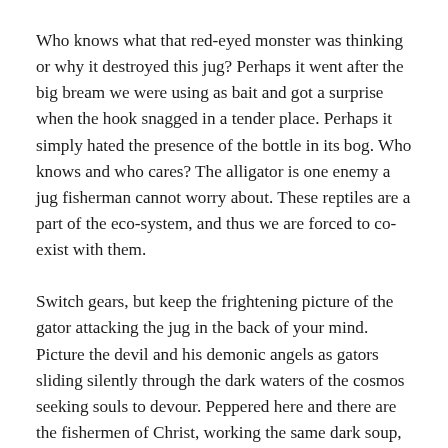Who knows what that red-eyed monster was thinking or why it destroyed this jug? Perhaps it went after the big bream we were using as bait and got a surprise when the hook snagged in a tender place. Perhaps it simply hated the presence of the bottle in its bog. Who knows and who cares? The alligator is one enemy a jug fisherman cannot worry about. These reptiles are a part of the eco-system, and thus we are forced to co-exist with them.
Switch gears, but keep the frightening picture of the gator attacking the jug in the back of your mind. Picture the devil and his demonic angels as gators sliding silently through the dark waters of the cosmos seeking souls to devour. Peppered here and there are the fishermen of Christ, working the same dark soup, going after the very same souls. Every soul in that black water will spend eternity somewhere. The question is where—heaven or hell? Look out your office cubicle—your kitchen window—the rear view mirror of your